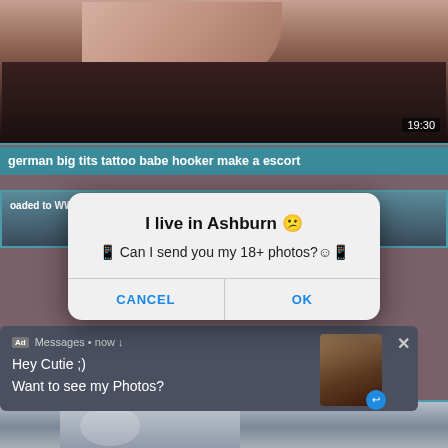[Figure (screenshot): Top portion of a video thumbnail showing a skin-toned background with a timestamp overlay reading 19:30]
german big tits tattoo babe hooker make a escort
[Figure (screenshot): Second video area with watermark text 'oaded to WWW.XVIDEOS.COM']
[Figure (screenshot): Dialog popup overlay showing 'I live in Ashburn' with message 'Can I send you my 18+ photos?' and CANCEL / OK buttons]
Ad  Messages • now
Hey Cutie ;)
Want to see my Photos?
[Figure (screenshot): Bottom video thumbnail showing a partial body image outdoors]